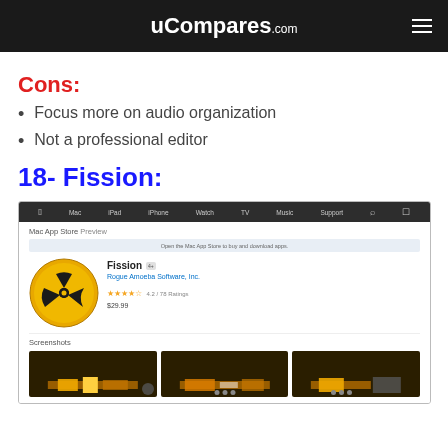uCompares.com
Cons:
Focus more on audio organization
Not a professional editor
18- Fission:
[Figure (screenshot): Mac App Store page screenshot for Fission app by Rogue Amoeba Software, Inc., showing app icon (radioactive symbol on gold circle), name, developer, star rating, price $29.99, and Screenshots section with 3 audio editor thumbnails.]